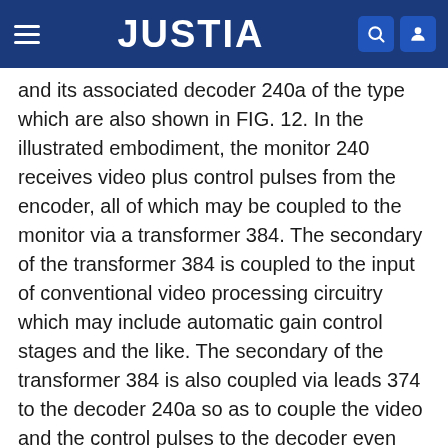JUSTIA
and its associated decoder 240a of the type which are also shown in FIG. 12. In the illustrated embodiment, the monitor 240 receives video plus control pulses from the encoder, all of which may be coupled to the monitor via a transformer 384. The secondary of the transformer 384 is coupled to the input of conventional video processing circuitry which may include automatic gain control stages and the like. The secondary of the transformer 384 is also coupled via leads 374 to the decoder 240a so as to couple the video and the control pulses to the decoder even when the monitor itself may be in an off condition.
As shown, the video processor includes an output lead 366 for coupling processed video and control pulses to the decoder, a lead 368 for coupling vertical blanking pulses to the decoder, and a lead 372 for coupling